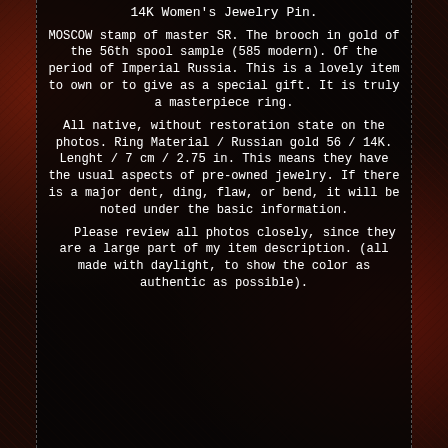14K Women's Jewelry Pin.
MOSCOW stamp of master SR. The brooch in gold of the 56th spool sample (585 modern). Of the period of Imperial Russia. This is a lovely item to own or to give as a special gift. It is truly a masterpiece ring.
All native, without restoration state on the photos. Ring Material / Russian gold 56 / 14K. Lenght / 7 cm / 2.75 in. This means they have the usual aspects of pre-owned jewelry. If there is a major dent, ding, flaw, or bend, it will be noted under the basic information.
Please review all photos closely, since they are a large part of my item description. (all made with daylight, to show the color as authentic as possible).